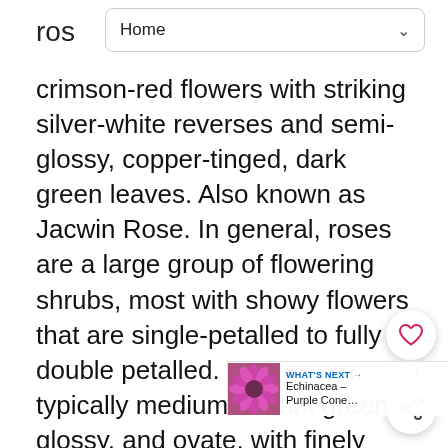Home
crimson-red flowers with striking silver-white reverses and semi-glossy, copper-tinged, dark green leaves. Also known as Jacwin Rose. In general, roses are a large group of flowering shrubs, most with showy flowers that are single-petalled to fully double petalled. Leaves are typically medium to dark green, glossy, and ovate, with finely toothed edges. Vary in size from 1/2 inch to 6 inches, five petals to more than 30, and in nearly every color. Often the flowers are very fragrant. Most varieties grow on long canes that sometimes climb. Unfortunately, this favorite plant is also susceptible to a variety of diseases and pests, many of which can be controlled with good